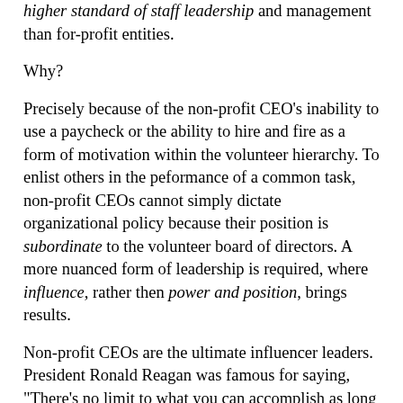higher standard of staff leadership and management than for-profit entities.
Why?
Precisely because of the non-profit CEO's inability to use a paycheck or the ability to hire and fire as a form of motivation within the volunteer hierarchy. To enlist others in the peformance of a common task, non-profit CEOs cannot simply dictate organizational policy because their position is subordinate to the volunteer board of directors. A more nuanced form of leadership is required, where influence, rather then power and position, brings results.
Non-profit CEOs are the ultimate influencer leaders. President Ronald Reagan was famous for saying, "There's no limit to what you can accomplish as long as you don't care who gets the credit." Effective non-profit CEOs have that quote tatooed on their foreheads. They must be forever the Wizard of Oz behind the curtain. (I've had to bite my tongue more than once when a volunteer leader has taken credit for my idea, saying something like "This is one of the best initiatives of my administration.")